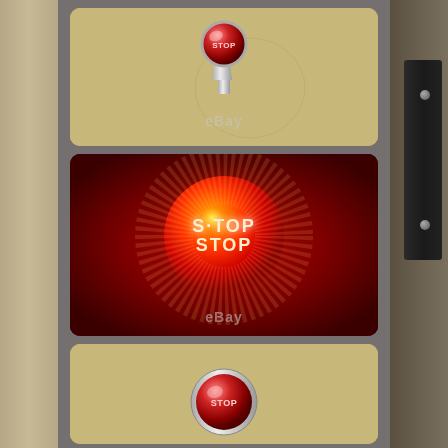[Figure (photo): Three product photos of a vintage automobile STOP lamp with red glass globe and chrome mounting bracket. Top photo shows the lamp unlit against a burlap/linen textured background with eBay watermark. Middle photo shows the lamp illuminated with a bright red glow against a dark red background with eBay watermark. Bottom photo shows a close-up of the red glass globe with STOP text visible.]